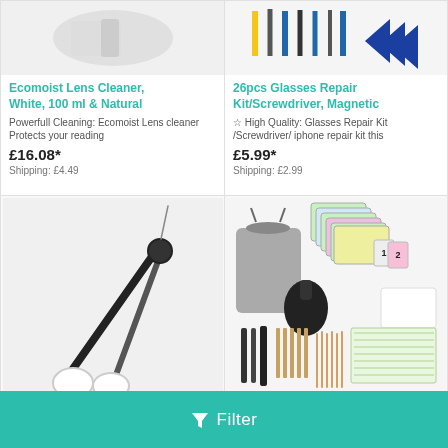[Figure (photo): Ecomoist Lens Cleaner product image showing cleaning accessories]
Ecomoist Lens Cleaner, White, 100 ml & Natural
Powerfull Cleaning: Ecomoist Lens cleaner Protects your reading
£16.08*
Shipping: £4.49
[Figure (photo): 26pcs Glasses Repair Kit/Screwdriver, Magnetic product image]
26pcs Glasses Repair Kit/Screwdriver, Magnetic
☆ High Quality: Glasses Repair Kit /Screwdriver/ iphone repair kit this
£5.99*
Shipping: £2.99
[Figure (photo): Black microfiber glasses cleaning tong/clip tool]
[Figure (photo): Glasses/camera cleaning kit with pouches, brushes, toothpicks, and cleaning cloths]
▽ Filter